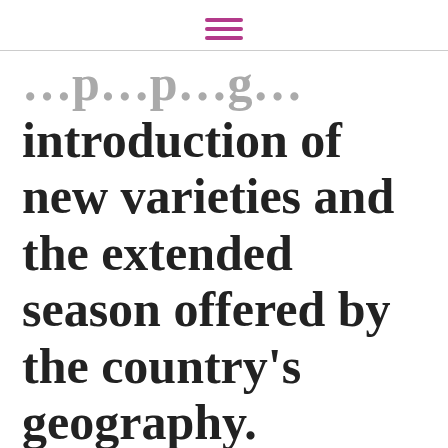[hamburger menu icon]
introduction of new varieties and the extended season offered by the country's geography.
We use cookies on our website to give you the most relevant experience by remembering your preferences and repeat visits. By clicking “Accept”, you consent to the use of ALL the cookies.
Cookie settings | ACCEPT